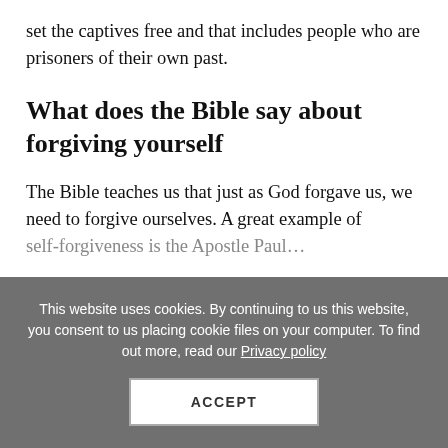set the captives free and that includes people who are prisoners of their own past.
What does the Bible say about forgiving yourself
The Bible teaches us that just as God forgave us, we need to forgive ourselves. A great example of self-forgiveness is the Apostle Paul...
This website uses cookies. By continuing to us this website, you consent to us placing cookie files on your computer. To find out more, read our Privacy policy
ACCEPT